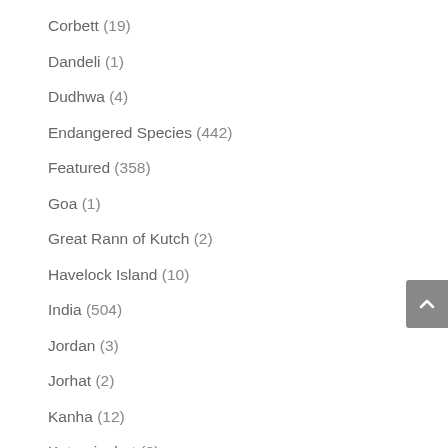Corbett (19)
Dandeli (1)
Dudhwa (4)
Endangered Species (442)
Featured (358)
Goa (1)
Great Rann of Kutch (2)
Havelock Island (10)
India (504)
Jordan (3)
Jorhat (2)
Kanha (12)
Katarniaghat (2)
Kaziranga (36)
Kenya (169)